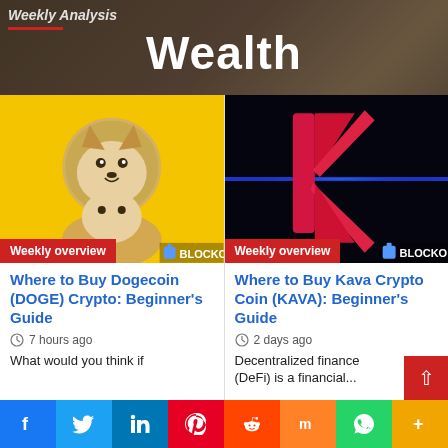Weekly Analysis
Wealth
[Figure (photo): Dogecoin (DOGE) yellow thumbnail with Shiba Inu dog and circular coin icon, BlockO watermark, Weekly overview badge]
Where to Buy Dogecoin (DOGE) Crypto: Beginner's Guide
7 hours ago
What would you think if
[Figure (photo): Kava (KAVA) dark thumbnail with glowing red/pink K logo on black background, BlockO watermark, Weekly overview badge]
Where to Buy Kava Crypto Coin (KAVA): Beginner's Guide
2 days ago
Decentralized finance (DeFi) is a financial...
f  Twitter  in  Pinterest  Reddit  Mix  WhatsApp  +